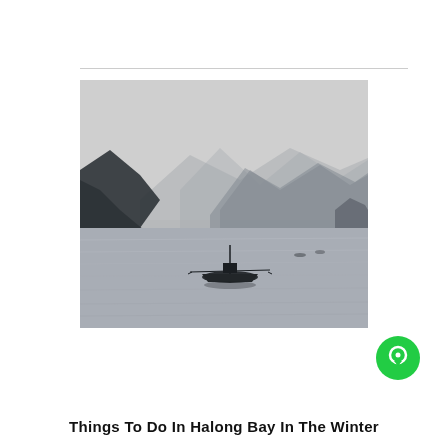[Figure (photo): Misty seascape of Halong Bay in winter. Dark limestone karst mountains loom in the foggy background. A fishing boat with extended outriggers sits in the calm grey water in the foreground. The scene is desaturated and grey-toned, evoking a cool, overcast winter atmosphere.]
Things To Do In Halong Bay In The Winter